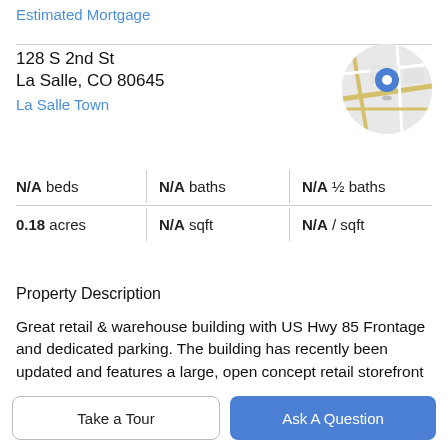Estimated Mortgage
128 S 2nd St
La Salle, CO 80645
La Salle Town
[Figure (map): Circular map thumbnail showing a location pin on a street map for 128 S 2nd St, La Salle, CO]
N/A beds | N/A baths | N/A ½ baths | 0.18 acres | N/A sqft | N/A / sqft
Property Description
Great retail & warehouse building with US Hwy 85 Frontage and dedicated parking. The building has recently been updated and features a large, open concept retail storefront with ADA compliant restroom, CAT-6 internet hardwired throughout, new LED lighting, new HVAC